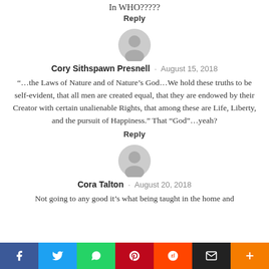In WHO?????
Reply
[Figure (illustration): Gray user avatar icon (circle with silhouette)]
Cory Sithspawn Presnell · August 15, 2018
“…the Laws of Nature and of Nature’s God…We hold these truths to be self-evident, that all men are created equal, that they are endowed by their Creator with certain unalienable Rights, that among these are Life, Liberty, and the pursuit of Happiness.” That “God”…yeah?
Reply
[Figure (illustration): Gray user avatar icon (circle with silhouette)]
Cora Talton · August 20, 2018
Not going to any good it’s what being taught in the home and